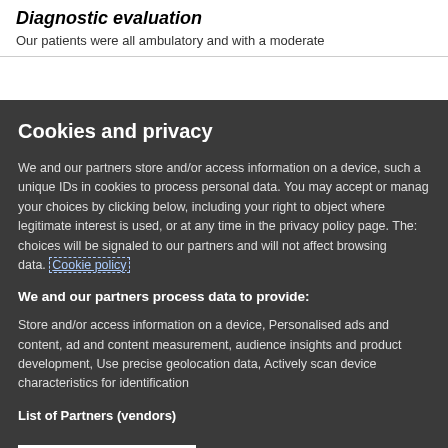Diagnostic evaluation
Our patients were all ambulatory and with a moderate
Cookies and privacy
We and our partners store and/or access information on a device, such as unique IDs in cookies to process personal data. You may accept or manage your choices by clicking below, including your right to object where legitimate interest is used, or at any time in the privacy policy page. These choices will be signaled to our partners and will not affect browsing data. Cookie policy
We and our partners process data to provide:
Store and/or access information on a device, Personalised ads and content, ad and content measurement, audience insights and product development, Use precise geolocation data, Actively scan device characteristics for identification
List of Partners (vendors)
I Accept